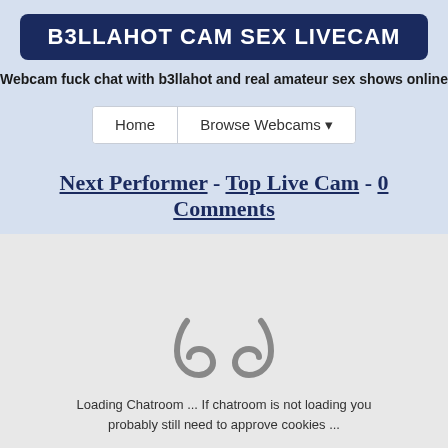B3LLAHOT CAM SEX LIVECAM
Webcam fuck chat with b3llahot and real amateur sex shows online
[Figure (screenshot): Navigation bar with Home and Browse Webcams dropdown buttons]
Next Performer - Top Live Cam - 0 Comments
[Figure (illustration): Loading icon resembling parentheses/curves symbol for chatroom]
Loading Chatroom ... If chatroom is not loading you probably still need to approve cookies ...